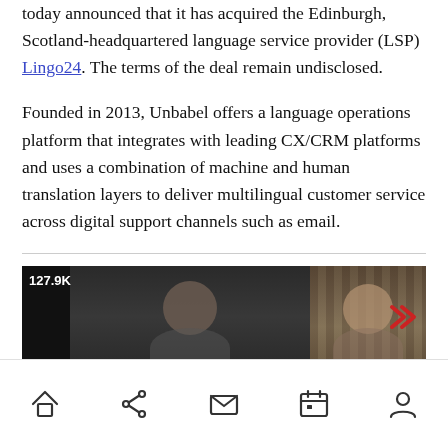today announced that it has acquired the Edinburgh, Scotland-headquartered language service provider (LSP) Lingo24. The terms of the deal remain undisclosed.
Founded in 2013, Unbabel offers a language operations platform that integrates with leading CX/CRM platforms and uses a combination of machine and human translation layers to deliver multilingual customer service across digital support channels such as email.
[Figure (screenshot): Video thumbnail showing two people in a split-screen video call format with '127.9K' view count and red chevron navigation arrows on the right]
Home | Share | Mail | Calendar | Profile — mobile navigation bar